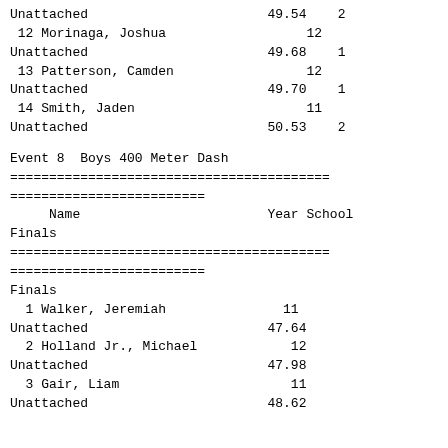| Place | Name | Year | School | Finals | H# |
| --- | --- | --- | --- | --- | --- |
|  | Unattached |  |  | 49.54 | 2 |
| 12 | Morinaga, Joshua | 12 |  |  |  |
|  | Unattached |  |  | 49.68 | 1 |
| 13 | Patterson, Camden | 12 |  |  |  |
|  | Unattached |  |  | 49.70 | 1 |
| 14 | Smith, Jaden | 11 |  |  |  |
|  | Unattached |  |  | 50.53 | 2 |
Event 8  Boys 400 Meter Dash
| Name | Year | School | Finals |
| --- | --- | --- | --- |
| Walker, Jeremiah | 11 | Unattached | 47.64 |
| Holland Jr., Michael | 12 | Unattached | 47.98 |
| Gair, Liam | 11 | Unattached | 48.62 |